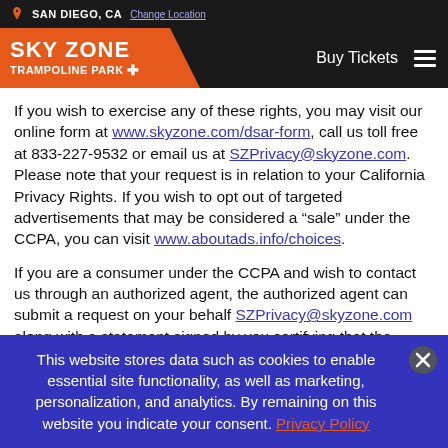SAN DIEGO, CA | Change Location
[Figure (logo): Sky Zone Trampoline Park logo in orange trapezoid with Buy Tickets and hamburger menu on dark background]
If you wish to exercise any of these rights, you may visit our online form at www.skyzone.com/dsar-form, call us toll free at 833-227-9532 or email us at SZPrivacy@skyzone.com. Please note that your request is in relation to your California Privacy Rights. If you wish to opt out of targeted advertisements that may be considered a “sale” under the CCPA, you can visit www.aboutads.info/choices.
If you are a consumer under the CCPA and wish to contact us through an authorized agent, the authorized agent can submit a request on your behalf SZPrivacy@skyzone.com along with a statement signed by you certifying that the
This website stores data such as cookies to enable essential site functionality, as well as marketing, personalization, and analytics. By remaining on this website you indicate your consent. Privacy Policy